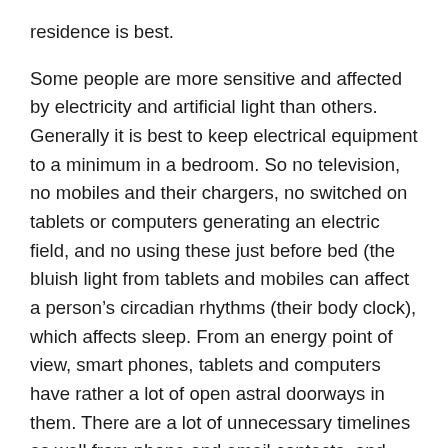residence is best.
Some people are more sensitive and affected by electricity and artificial light than others. Generally it is best to keep electrical equipment to a minimum in a bedroom. So no television, no mobiles and their chargers, no switched on tablets or computers generating an electric field, and no using these just before bed (the bluish light from tablets and mobiles can affect a person's circadian rhythms (their body clock), which affects sleep. From an energy point of view, smart phones, tablets and computers have rather a lot of open astral doorways in them. There are a lot of unnecessary timelines as well from phone and email contacts, and “connections” on social media. These devices are best ideally kept out of the bedroom, or at least energetically cleared and the doorways closed.